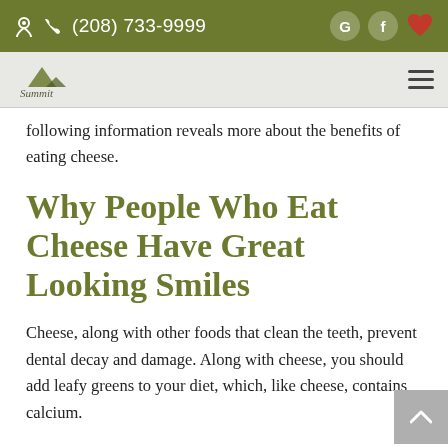(208) 733-9999
following information reveals more about the benefits of eating cheese.
Why People Who Eat Cheese Have Great Looking Smiles
Cheese, along with other foods that clean the teeth, prevent dental decay and damage. Along with cheese, you should add leafy greens to your diet, which, like cheese, contains calcium.